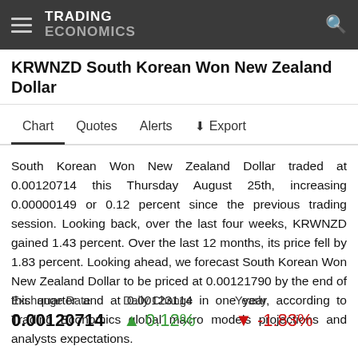TRADING ECONOMICS
KRWNZD South Korean Won New Zealand Dollar
Chart  Quotes  Alerts  Export
South Korean Won New Zealand Dollar traded at 0.00120714 this Thursday August 25th, increasing 0.00000149 or 0.12 percent since the previous trading session. Looking back, over the last four weeks, KRWNZD gained 1.43 percent. Over the last 12 months, its price fell by 1.83 percent. Looking ahead, we forecast South Korean Won New Zealand Dollar to be priced at 0.00121790 by the end of this quarter and at 0.00123114 in one year, according to Trading Economics global macro models projections and analysts expectations.
| Exchange Rate | Daily Change | Yearly |
| --- | --- | --- |
| 0.00120714 | ▲ 0.12% | ▼ -1.83% |